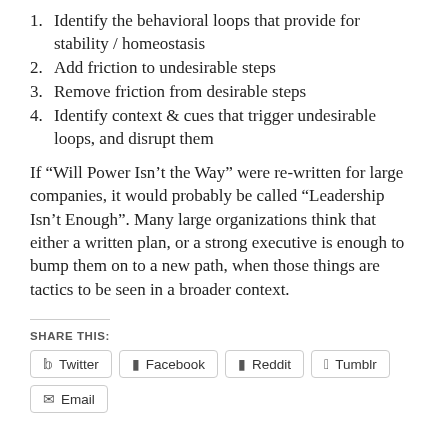1. Identify the behavioral loops that provide for stability / homeostasis
2. Add friction to undesirable steps
3. Remove friction from desirable steps
4. Identify context & cues that trigger undesirable loops, and disrupt them
If “Will Power Isn’t the Way” were re-written for large companies, it would probably be called “Leadership Isn’t Enough”. Many large organizations think that either a written plan, or a strong executive is enough to bump them on to a new path, when those things are tactics to be seen in a broader context.
SHARE THIS:
Twitter  Facebook  Reddit  Tumblr  Email